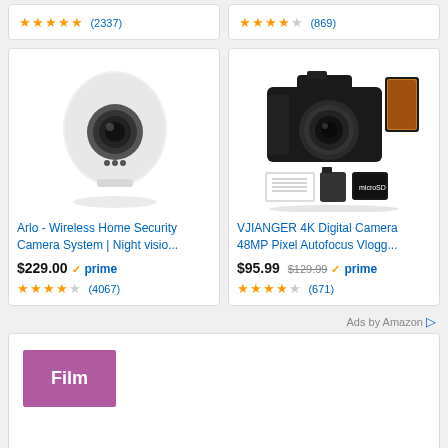[Figure (other): Partial top cards showing star ratings: 5 stars (2337) and 3.5 stars (869)]
[Figure (photo): Arlo wireless home security camera - white egg-shaped camera]
Arlo - Wireless Home Security Camera System | Night visio...
$229.00 prime ★★★★☆ (4067)
[Figure (photo): VJIANGER 4K Digital Camera with batteries and SD card accessories]
VJIANGER 4K Digital Camera 48MP Pixel Autofocus Vlogg...
$95.99 $129.99 prime ★★★★☆ (671)
Ads by Amazon
Film